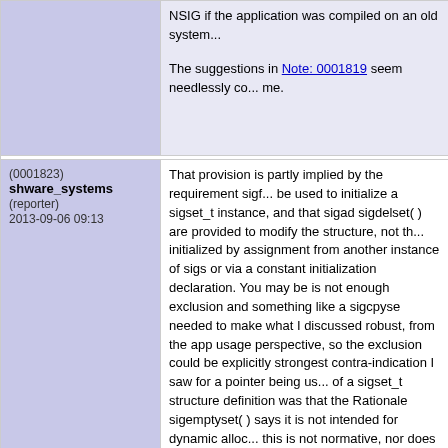NSIG if the application was compiled on an old system...
The suggestions in Note: 0001819 seem needlessly co... me.
(0001823)
shware_systems
(reporter)
2013-09-06 09:13
That provision is partly implied by the requirement sig... pointer dereferencing.
I did notice, in the process, that Issue 7 had changed t... implementation-defined signal numbers still aren't req...